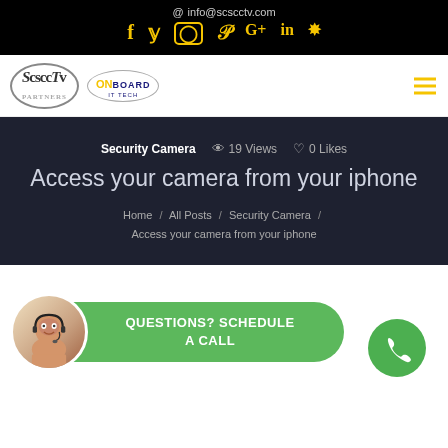@ info@scscctv.com
[Figure (logo): Social media icons: Facebook, Twitter, Instagram, Pinterest, Google+, LinkedIn, Yelp in yellow on black background]
[Figure (logo): ScscCTv and OnBoard IT Tech partner logos]
Security Camera   19 Views   0 Likes
Access your camera from your iphone
Home / All Posts / Security Camera / Access your camera from your iphone
[Figure (photo): Customer service representative with headset, circular avatar photo]
QUESTIONS? SCHEDULE A CALL
[Figure (other): Green phone call button circle with phone icon]